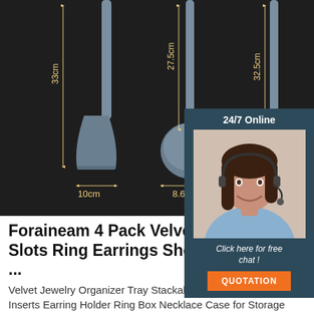[Figure (photo): Product image of silicone kitchen utensils (spatula and ladle) on dark background with dimension labels: 33cm height for spatula, 27.5cm height for ladle, 32.5cm for third utensil; 10cm width for spatula, 8.6cm width for ladle]
[Figure (infographic): Customer service chat widget with '24/7 Online' header, photo of smiling female agent with headset, 'Click here for free chat!' text, and orange QUOTATION button]
Foraineam 4 Pack Velvet 7 Slots Ring Earrings Showcase ...
Velvet Jewelry Organizer Tray Stackable, Jewelry Storage Inserts Earring Holder Ring Box Necklace Case for Storage Display Bracelet